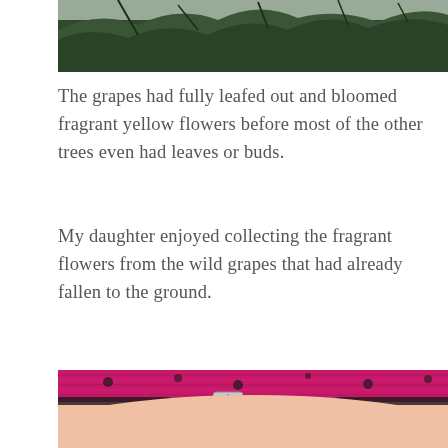[Figure (photo): Top portion of a forest scene with tree branches and green foliage visible against a grey sky, cropped at the bottom edge.]
The grapes had fully leafed out and bloomed fragrant yellow flowers before most of the other trees even had leaves or buds.
My daughter enjoyed collecting the fragrant flowers from the wild grapes that had already fallen to the ground.
[Figure (photo): Close-up photo of a child's arm and shoulder wearing a pink and black patterned sleeveless top with a silver clasp or buckle detail, skin tones warm.]